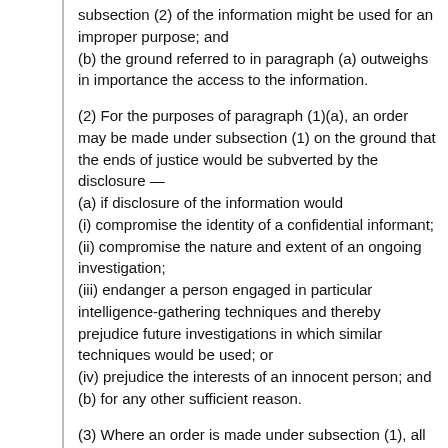subsection (2) of the information might be used for an improper purpose; and
(b) the ground referred to in paragraph (a) outweighs in importance the access to the information.
(2) For the purposes of paragraph (1)(a), an order may be made under subsection (1) on the ground that the ends of justice would be subverted by the disclosure —
(a) if disclosure of the information would
(i) compromise the identity of a confidential informant;
(ii) compromise the nature and extent of an ongoing investigation;
(iii) endanger a person engaged in particular intelligence-gathering techniques and thereby prejudice future investigations in which similar techniques would be used; or
(iv) prejudice the interests of an innocent person; and
(b) for any other sufficient reason.
(3) Where an order is made under subsection (1), all documents relating to the application shall, subject to any terms and conditions that the Judge or Magistrate considers desirable in the circumstances, including,